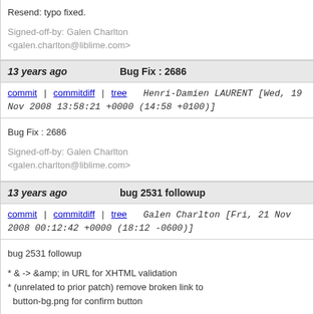Resend: typo fixed.

Signed-off-by: Galen Charlton <galen.charlton@liblime.com>
13 years ago    Bug Fix : 2686
commit | commitdiff | tree    Henri-Damien LAURENT [Wed, 19 Nov 2008 13:58:21 +0000 (14:58 +0100)]
Bug Fix : 2686

Signed-off-by: Galen Charlton <galen.charlton@liblime.com>
13 years ago    bug 2531 followup
commit | commitdiff | tree    Galen Charlton [Fri, 21 Nov 2008 00:12:42 +0000 (18:12 -0600)]
bug 2531 followup

* & -> &amp; in URL for XHTML validation
* (unrelated to prior patch) remove broken link to button-bg.png for confirm button

Signed-off-by: Galen Charlton <galen.charlton@liblime.com>
13 years ago    Bug #2531 Cannot delete private shelf
commit | commitdiff | tree    Allen Reinmeyer [Mon, 17 Nov 2008